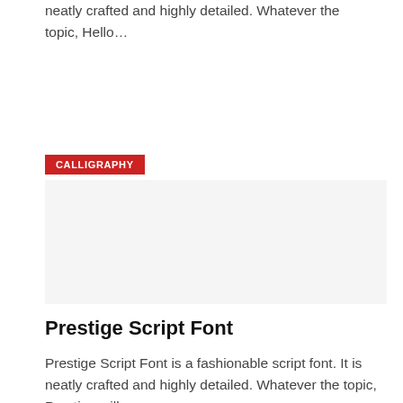neatly crafted and highly detailed. Whatever the topic, Hello…
CALLIGRAPHY
[Figure (other): Image placeholder area for calligraphy font preview]
Prestige Script Font
Prestige Script Font is a fashionable script font. It is neatly crafted and highly detailed. Whatever the topic, Prestige will…